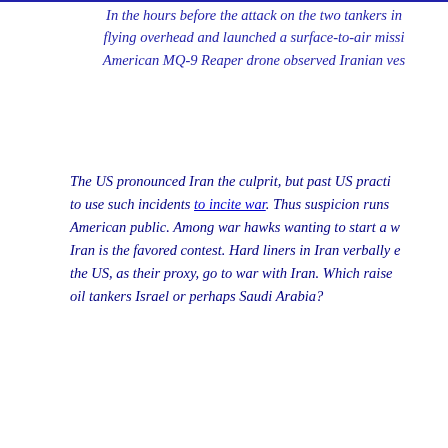In the hours before the attack on the two tankers in flying overhead and launched a surface-to-air missi American MQ-9 Reaper drone observed Iranian ves
The US pronounced Iran the culprit, but past US practi to use such incidents to incite war. Thus suspicion runs American public. Among war hawks wanting to start a w Iran is the favored contest. Hard liners in Iran verbally e the US, as their proxy, go to war with Iran. Which raise oil tankers Israel or perhaps Saudi Arabia?